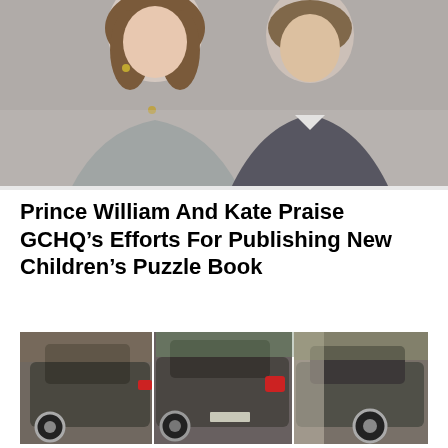[Figure (photo): Photo of Prince William and Kate (woman in grey blazer on left, man in dark suit on right), cropped from shoulders up, smiling.]
Prince William And Kate Praise GCHQ’s Efforts For Publishing New Children’s Puzzle Book
[Figure (photo): Three-panel composite photo showing a dark grey luxury car (appears to be a Bentley) from different angles in an outdoor setting.]